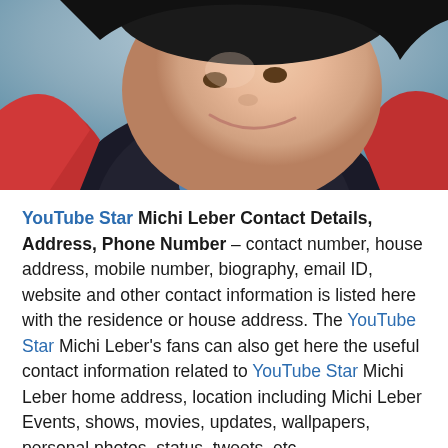[Figure (photo): Close-up photo of a young smiling man wearing a red jacket with a dark collar, blurred background with light blue and other colors]
YouTube Star Michi Leber Contact Details, Address, Phone Number – contact number, house address, mobile number, biography, email ID, website and other contact information is listed here with the residence or house address. The YouTube Star Michi Leber's fans can also get here the useful contact information related to YouTube Star Michi Leber home address, location including Michi Leber Events, shows, movies, updates, wallpapers, personal photos, status, tweets, etc.